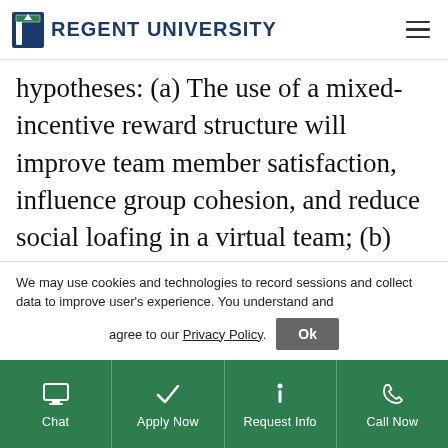Regent University
hypotheses: (a) The use of a mixed-incentive reward structure will improve team member satisfaction, influence group cohesion, and reduce social loafing in a virtual team; (b) There will be enhanced team member satisfaction as well as team cohesion and reduced
We may use cookies and technologies to record sessions and collect data to improve user's experience. You understand and agree to our Privacy Policy.
Chat | Apply Now | Request Info | Call Now